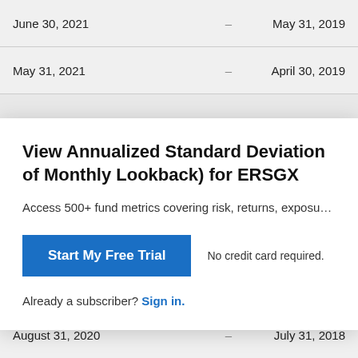| Date |  | Date |
| --- | --- | --- |
| June 30, 2021 | – | May 31, 2019 |
| May 31, 2021 | – | April 30, 2019 |
View Annualized Standard Deviation of Monthly Lookback) for ERSGX
Access 500+ fund metrics covering risk, returns, exposu…
Start My Free Trial
No credit card required.
Already a subscriber? Sign in.
| Date |  | Date |
| --- | --- | --- |
| October 31, 2020 | – | September 30,… |
| September 30, 2020 | – | August 31, 2018… |
| August 31, 2020 | – | July 31, 2018 |